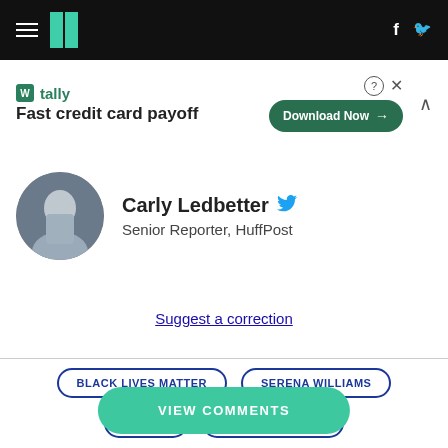HuffPost navigation bar with hamburger menu, logo, Facebook and Twitter icons
[Figure (screenshot): Tally advertisement banner: tally logo, 'Fast credit card payoff', Download Now button, close and collapse controls]
Carly Ledbetter — Senior Reporter, HuffPost
Suggest a correction
BLACK LIVES MATTER
SERENA WILLIAMS
REDDIT
ALEXIS OHANIAN
VIEW COMMENTS